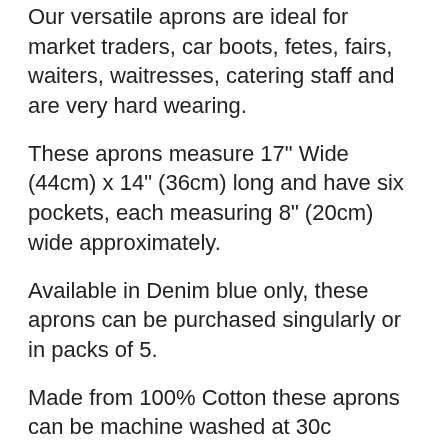Our versatile aprons are ideal for market traders, car boots, fetes, fairs, waiters, waitresses, catering staff and are very hard wearing.
These aprons measure 17" Wide (44cm) x 14" (36cm) long and have six pockets, each measuring 8" (20cm) wide approximately.
Available in Denim blue only, these aprons can be purchased singularly or in packs of 5.
Made from 100% Cotton these aprons can be machine washed at 30c however they should not be tumble dried.
Photographs are for illustrative purposes only and all measurements are approximate.
Details: This denim money apron has 6 pockets, four of which are zipped, and is ideal for use in markets, car boots, fetes, bars and